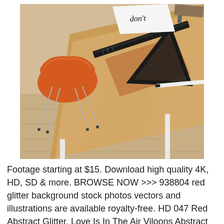[Figure (photo): A wooden desk with an orange/red molded chair beside it. On the desk surface are a leather notebook, black rulers (including a set square), pens, and a paper with calligraphic lettering. The floor is light wood. The setting appears to be a creative workspace.]
Footage starting at $15. Download high quality 4K, HD, SD & more. BROWSE NOW >>> 938804 red glitter background stock photos vectors and illustrations are available royalty-free. HD 047 Red Abstract Glitter, Love Is In The Air Viloons Abstract